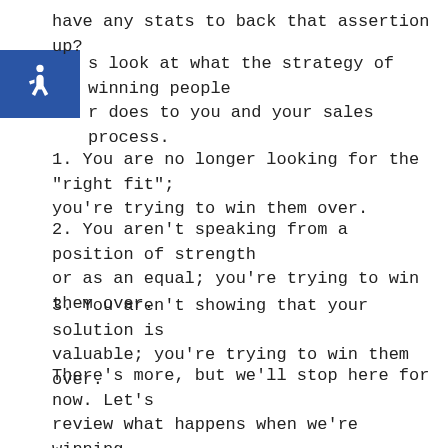have any stats to back that assertion up?
s look at what the strategy of winning people r does to you and your sales process.
1. You are no longer looking for the "right fit"; you're trying to win them over.
2. You aren't speaking from a position of strength or as an equal; you're trying to win them over.
3. You aren't showing that your solution is valuable; you're trying to win them over.
There's more, but we'll stop here for now. Let's review what happens when we're winning people over instead of qualifying and then selling.